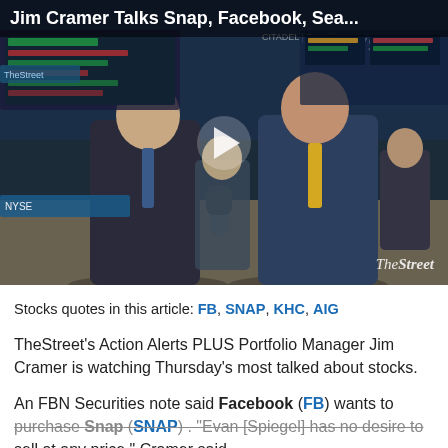[Figure (screenshot): Video thumbnail showing Jim Cramer being interviewed on NYSE trading floor. Two men in suits face each other, one holding a microphone. Play button overlay in center. 'The Street' watermark bottom right. Title bar at top reads 'Jim Cramer Talks Snap, Facebook, Sea...']
Stocks quotes in this article: FB, SNAP, KHC, AIG
TheStreet's Action Alerts PLUS Portfolio Manager Jim Cramer is watching Thursday's most talked about stocks.
An FBN Securities note said Facebook (FB) wants to purchase Snap (SNAP). "Evan [Spiegel] has no desire to sell at any price," Cramer said.